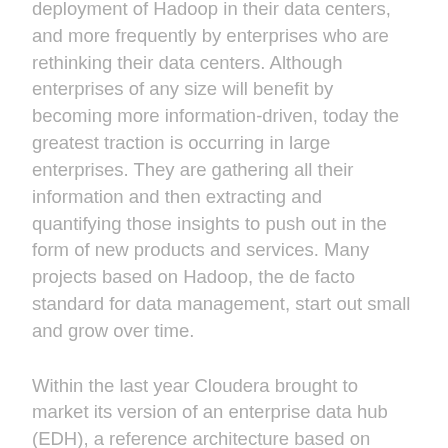deployment of Hadoop in their data centers, and more frequently by enterprises who are rethinking their data centers. Although enterprises of any size will benefit by becoming more information-driven, today the greatest traction is occurring in large enterprises. They are gathering all their information and then extracting and quantifying those insights to push out in the form of new products and services. Many projects based on Hadoop, the de facto standard for data management, start out small and grow over time.
Within the last year Cloudera brought to market its version of an enterprise data hub (EDH), a reference architecture based on Apache Hadoop surrounded with open source components. The EDH is a platform that plays a critical role in data management. A Cloudera-powered EDH is open source at the core, and has an open architecture